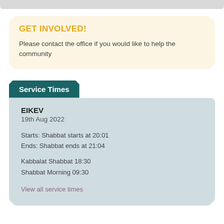GET INVOLVED!
Please contact the office if you would like to help the community
Service Times
EIKEV
19th Aug 2022

Starts: Shabbat starts at 20:01
Ends: Shabbat ends at 21:04
Kabbalat Shabbat 18:30
Shabbat Morning 09:30

View all service times